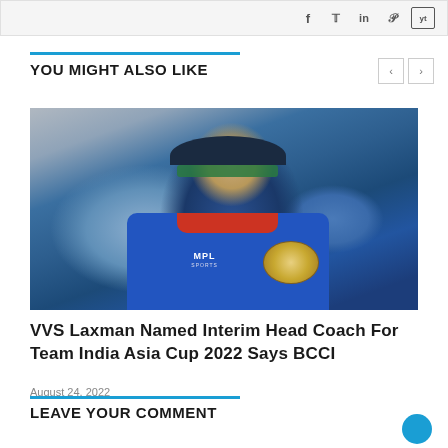Social icons: f, Twitter, in, Pinterest, YouTube
YOU MIGHT ALSO LIKE
[Figure (photo): VVS Laxman wearing Indian cricket team blue jersey with MPL Sports logo and BCCI emblem, wearing cap and sunglasses]
VVS Laxman Named Interim Head Coach For Team India Asia Cup 2022 Says BCCI
August 24, 2022
LEAVE YOUR COMMENT